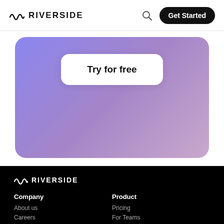RIVERSIDE — Get Started
[Figure (screenshot): Gradient purple-to-pink card with a white rounded 'Try for free' button in the center]
Try for free
[Figure (logo): Riverside logo in white on black background]
Company
Product
About us
Pricing
Careers
For Teams